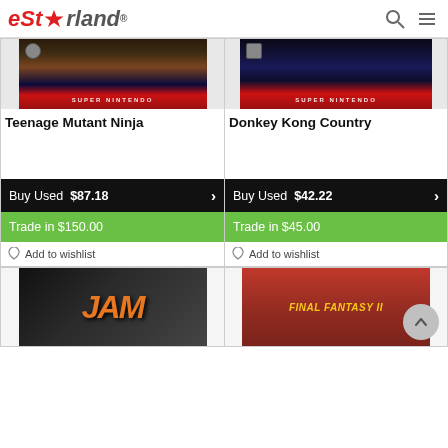eStarland
[Figure (screenshot): Product card for Teenage Mutant Ninja - Super Nintendo game cartridge image, Buy Used $87.18, Trade in $150.00]
[Figure (screenshot): Product card for Donkey Kong Country - Super Nintendo game cartridge image, Buy Used $42.22, Trade in $45.00]
[Figure (screenshot): Product card for JAM basketball game - partial image visible at bottom]
[Figure (screenshot): Product card for Final Fantasy II - partial image visible at bottom]